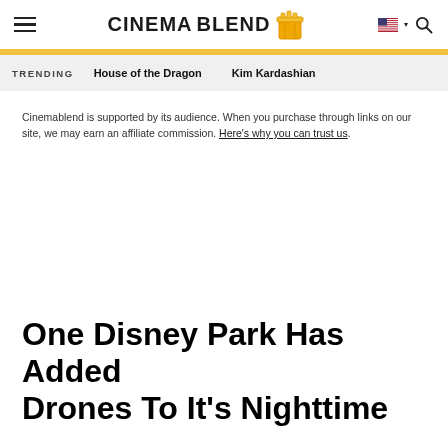CINEMABLEND
TRENDING   House of the Dragon   Kim Kardashian
Cinemablend is supported by its audience. When you purchase through links on our site, we may earn an affiliate commission. Here's why you can trust us.
One Disney Park Has Added Drones To It's Nighttime